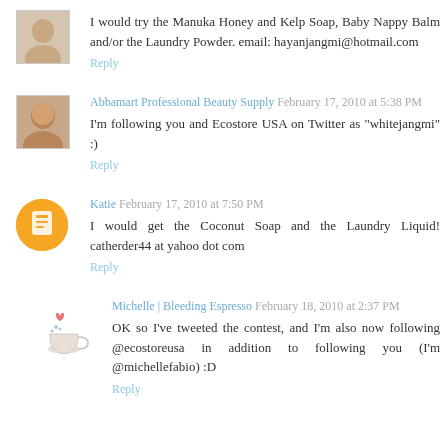I would try the Manuka Honey and Kelp Soap, Baby Nappy Balm and/or the Laundry Powder. email: hayanjangmi@hotmail.com
Reply
Abbamart Professional Beauty Supply  February 17, 2010 at 5:38 PM
I'm following you and Ecostore USA on Twitter as "whitejangmi" :)
Reply
Katie  February 17, 2010 at 7:50 PM
I would get the Coconut Soap and the Laundry Liquid! catherder44 at yahoo dot com
Reply
Michelle | Bleeding Espresso  February 18, 2010 at 2:37 PM
OK so I've tweeted the contest, and I'm also now following @ecostoreusa in addition to following you (I'm @michellefabio) :D
Reply